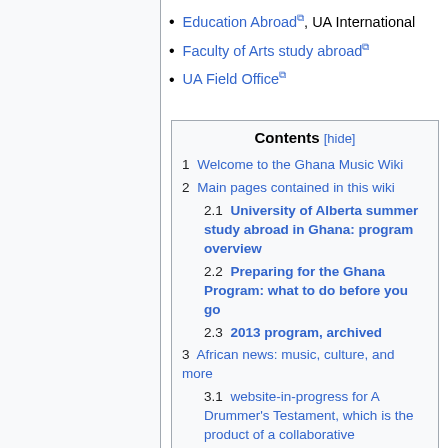Education Abroad, UA International
Faculty of Arts study abroad
UA Field Office
| Contents [hide] |
| 1  Welcome to the Ghana Music Wiki |
| 2  Main pages contained in this wiki |
| 2.1  University of Alberta summer study abroad in Ghana: program overview |
| 2.2  Preparing for the Ghana Program: what to do before you go |
| 2.3  2013 program, archived |
| 3  African news: music, culture, and more |
| 3.1  website-in-progress for A Drummer's Testament, which is the product of a collaborative |